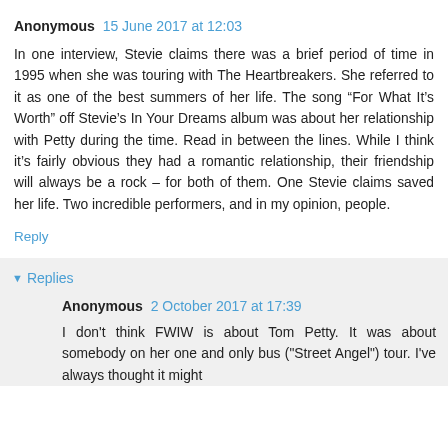Anonymous 15 June 2017 at 12:03
In one interview, Stevie claims there was a brief period of time in 1995 when she was touring with The Heartbreakers. She referred to it as one of the best summers of her life. The song “For What It’s Worth” off Stevie’s In Your Dreams album was about her relationship with Petty during the time. Read in between the lines. While I think it’s fairly obvious they had a romantic relationship, their friendship will always be a rock – for both of them. One Stevie claims saved her life. Two incredible performers, and in my opinion, people.
Reply
Replies
Anonymous 2 October 2017 at 17:39
I don't think FWIW is about Tom Petty. It was about somebody on her one and only bus ("Street Angel") tour. I've always thought it might